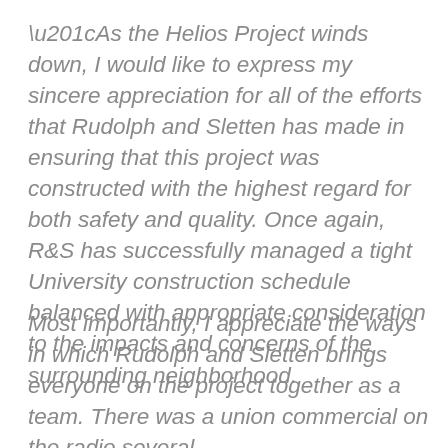“As the Helios Project winds down, I would like to express my sincere appreciation for all of the efforts that Rudolph and Sletten has made in ensuring that this project was constructed with the highest regard for both safety and quality. Once again, R&S has successfully managed a tight University construction schedule balanced with appropriate consideration to the impacts and concerns of the surrounding neighborhood.
Most importantly, I appreciate the ways in which Rudolph and Sletten brings everyone on the project together as a team. There was a union commercial on the radio several